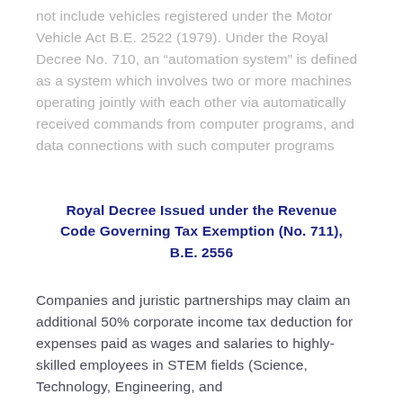not include vehicles registered under the Motor Vehicle Act B.E. 2522 (1979). Under the Royal Decree No. 710, an “automation system” is defined as a system which involves two or more machines operating jointly with each other via automatically received commands from computer programs, and data connections with such computer programs
Royal Decree Issued under the Revenue Code Governing Tax Exemption (No. 711), B.E. 2556
Companies and juristic partnerships may claim an additional 50% corporate income tax deduction for expenses paid as wages and salaries to highly-skilled employees in STEM fields (Science, Technology, Engineering, and